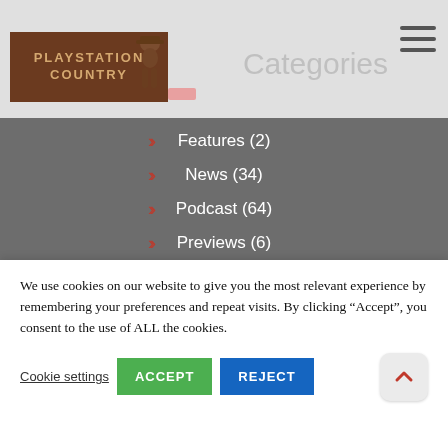PLAYSTATION COUNTRY — Categories
Features (2)
News (34)
Podcast (64)
Previews (6)
Retro (4)
PS1 (4)
Reviews (1,717)
PS3 (4)
We use cookies on our website to give you the most relevant experience by remembering your preferences and repeat visits. By clicking “Accept”, you consent to the use of ALL the cookies.
Cookie settings  ACCEPT  REJECT